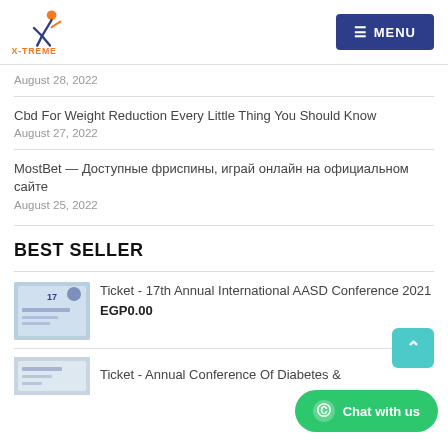X-TREME | MENU
August 28, 2022
Cbd For Weight Reduction Every Little Thing You Should Know
August 27, 2022
MostBet — Доступные фриспины, играй онлайн на официальном сайте
August 25, 2022
BEST SELLER
Ticket - 17th Annual International AASD Conference 2021
EGP0.00
Ticket - Annual Conference Of Diabetes &